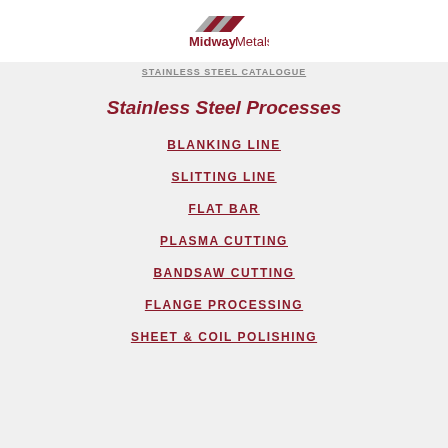[Figure (logo): Midway Metals logo with red/grey chevron stripes and bold red text reading 'Midway Metals']
STAINLESS STEEL CATALOGUE
Stainless Steel Processes
BLANKING LINE
SLITTING LINE
FLAT BAR
PLASMA CUTTING
BANDSAW CUTTING
FLANGE PROCESSING
SHEET & COIL POLISHING